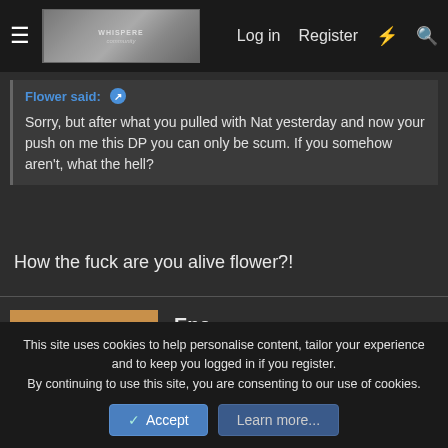Log in   Register
Flower said: ↗
Sorry, but after what you pulled with Nat yesterday and now your push on me this DP you can only be scum. If you somehow aren't, what the hell?
How the fuck are you alive flower?!
Ena
This site uses cookies to help personalise content, tailor your experience and to keep you logged in if you register.
By continuing to use this site, you are consenting to our use of cookies.